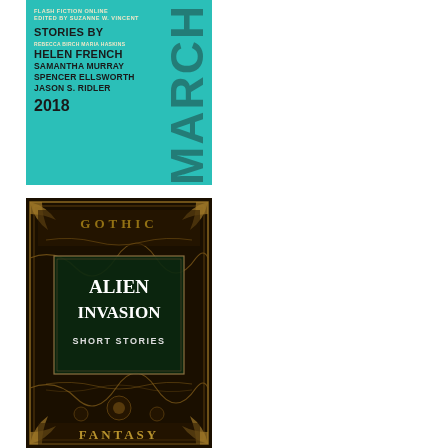[Figure (illustration): Book cover for Flash Fiction Online March 2018. Teal/cyan background with large vertical MARCH text on the right side. Left side shows: FLASH FICTION ONLINE, EDITED BY SUZANNE W. VINCENT, STORIES BY, REBECCA BIRCH MARIA HASKINS, HELEN FRENCH, SAMANTHA MURRAY, SPENCER ELLSWORTH, JASON S. RIDLER, 2018]
[Figure (illustration): Book cover for Alien Invasion Short Stories. Dark ornate Gothic fantasy design with gold/black decorative patterns. Central text box with green background reading ALIEN INVASION SHORT STORIES. Gothic-style lettering at top and FANTASY at bottom.]